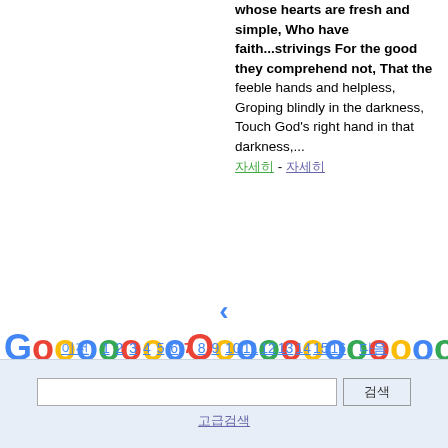whose hearts are fresh and simple, Who have faith...strivings For the good they comprehend not, That the feeble hands and helpless, Groping blindly in the darkness, Touch God's right hand in that darkness,... 자세히 - 자세히
[Figure (other): Google pagination bar with left arrow, Google logo spelled out as colored dots, right arrow, and page numbers 1-16 with page 7 highlighted in red]
[Figure (screenshot): Bottom search bar with text input field labeled with Korean characters and a search button with Korean text, plus a link below with Korean text]